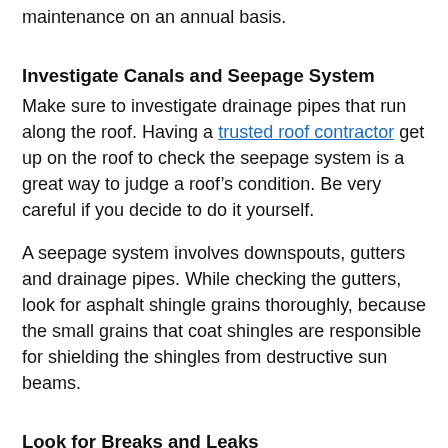maintenance on an annual basis.
Investigate Canals and Seepage System
Make sure to investigate drainage pipes that run along the roof. Having a trusted roof contractor get up on the roof to check the seepage system is a great way to judge a roof’s condition. Be very careful if you decide to do it yourself.
A seepage system involves downspouts, gutters and drainage pipes. While checking the gutters, look for asphalt shingle grains thoroughly, because the small grains that coat shingles are responsible for shielding the shingles from destructive sun beams.
Look for Breaks and Leaks
Rooftop leaks can play a vital role in damaging the floors and structure of a house. Leaks can harm your furniture, and can totally destroy the paint and the